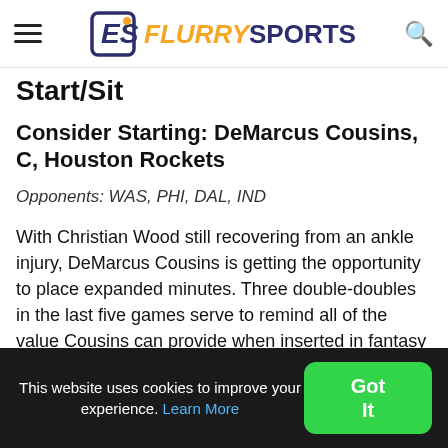Flurry Sports
Start/Sit
Consider Starting: DeMarcus Cousins, C, Houston Rockets
Opponents: WAS, PHI, DAL, IND
With Christian Wood still recovering from an ankle injury, DeMarcus Cousins is getting the opportunity to place expanded minutes. Three double-doubles in the last five games serve to remind all of the value Cousins can provide when inserted in fantasy basketball start/sit lineups. This week's schedule
This website uses cookies to improve your experience. Learn More Got It